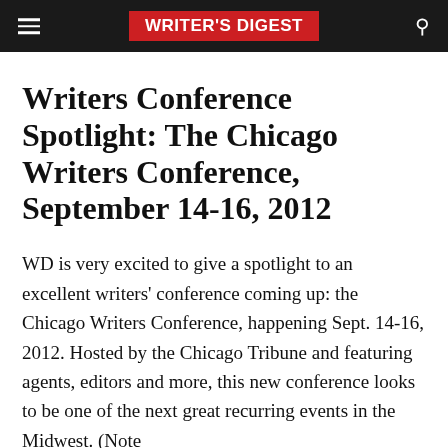WRITER'S DIGEST
Writers Conference Spotlight: The Chicago Writers Conference, September 14-16, 2012
WD is very excited to give a spotlight to an excellent writers' conference coming up: the Chicago Writers Conference, happening Sept. 14-16, 2012. Hosted by the Chicago Tribune and featuring agents, editors and more, this new conference looks to be one of the next great recurring events in the Midwest. (Note